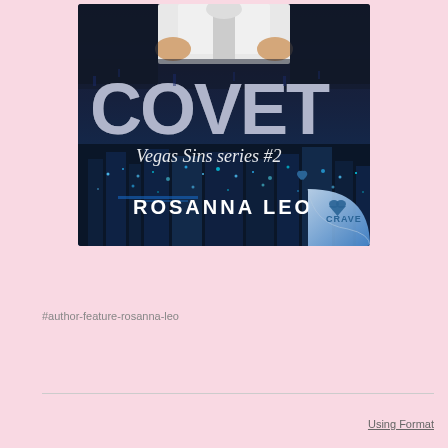[Figure (illustration): Book cover of 'COVET' by Rosanna Leo, Vegas Sins Series #2, published by Crave. The cover shows the title 'COVET' in large distressed white letters, with 'Vegas Sins series #2' in cursive script below, 'ROSANNA LEO' in white block letters, and the Crave publisher logo in the bottom right corner. The background features a dark blue cityscape (Las Vegas) with a man in a white shirt visible at the top.]
#author-feature-rosanna-leo
Using Format